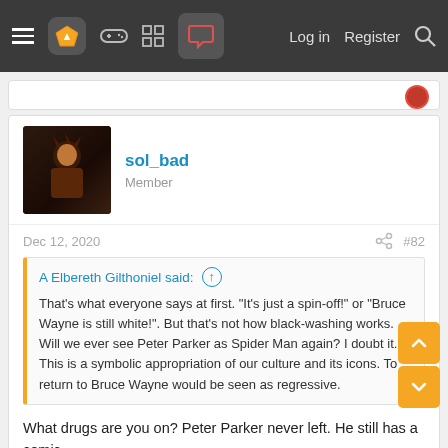Navigation bar with menu, logo, gamepad, grid, chat icons, Log in, Register, Search
sol_bad
Member
Dec 12, 2020
#82
A Elbereth Gilthoniel said:
That's what everyone says at first. "It's just a spin-off!" or "Bruce Wayne is still white!". But that's not how black-washing works. Will we ever see Peter Parker as Spider Man again? I doubt it. This is a symbolic appropriation of our culture and its icons. To return to Bruce Wayne would be seen as regressive.
What drugs are you on? Peter Parker never left. He still has a comic.
Also, Future State is only a 2 month long event. Main titles